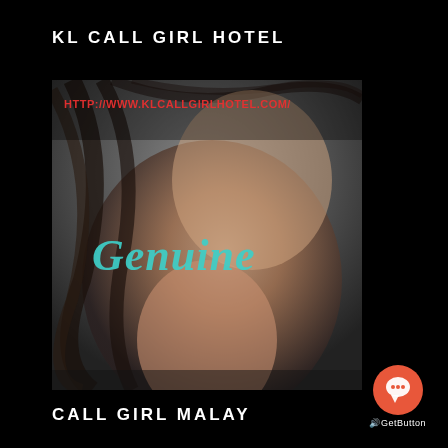KL CALL GIRL HOTEL
[Figure (photo): A stylized photo of a woman with long flowing dark hair, partially cropped face showing neck area, with overlay text 'HTTP://WWW.KLCALLGIRLHOTEL.COM/' in red and 'Genuine' in teal cursive script. Dark/moody aesthetic.]
CALL GIRL MALAY
[Figure (logo): GetButton widget: orange-red circle with white speech bubble / chat icon, labeled 'GetButton' below in white text]